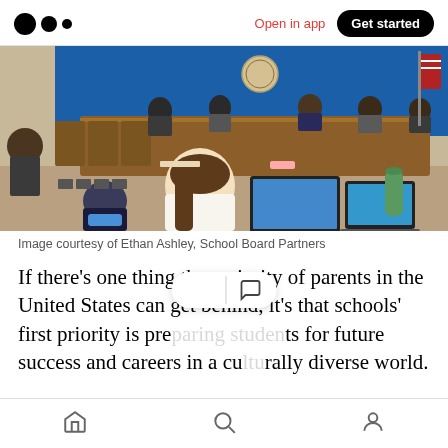Medium logo | Open in app | Get started
[Figure (photo): School board meeting room with officials seated at a long wooden desk. Blue wall with seal in background and American flag. A woman in white top works on a laptop in the foreground.]
Image courtesy of Ethan Ashley, School Board Partners
If there's one thing the majority of parents in the United States can get behind, it's that schools' first priority is pre[paring studen]ts for future success and careers in a culturally diverse world.
Home | Search | Profile